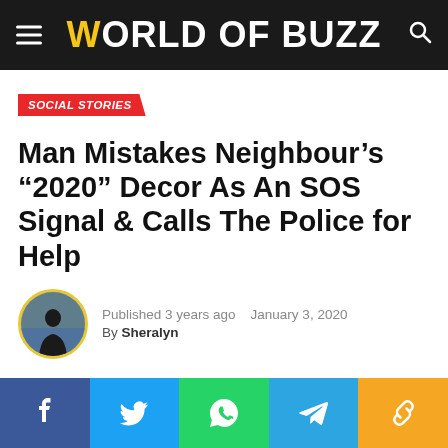World of Buzz
SOCIAL STORIES
Man Mistakes Neighbour’s “2020” Decor As An SOS Signal & Calls The Police for Help
Published 3 years ago   January 3, 2020
By Sheralyn